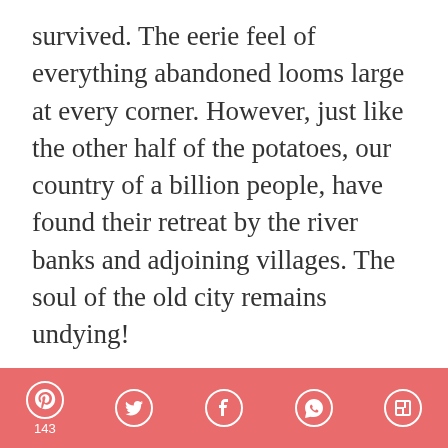survived. The eerie feel of everything abandoned looms large at every corner. However, just like the other half of the potatoes, our country of a billion people, have found their retreat by the river banks and adjoining villages. The soul of the old city remains undying!
Read this for an updated an comprehensive Travel Guide to Hampi. I wrote more than 10,000 words to help you plan your trip to Hampi!
[Figure (map): Partial map image with a red circular marker visible at bottom right]
Pinterest 143 | Twitter | Facebook | WhatsApp | Flipboard